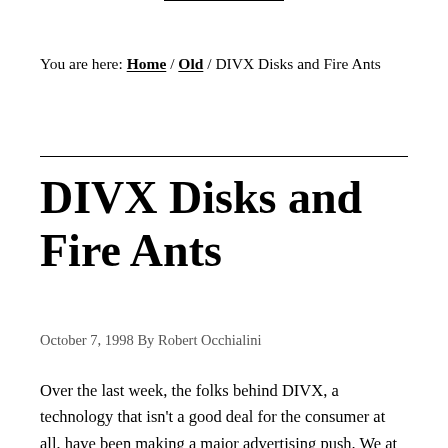You are here: Home / Old / DIVX Disks and Fire Ants
DIVX Disks and Fire Ants
October 7, 1998 By Robert Occhialini
Over the last week, the folks behind DIVX, a technology that isn’t a good deal for the consumer at all, have been making a major advertising push. We at the Bump Interactive Corporate suite have a real issue with this